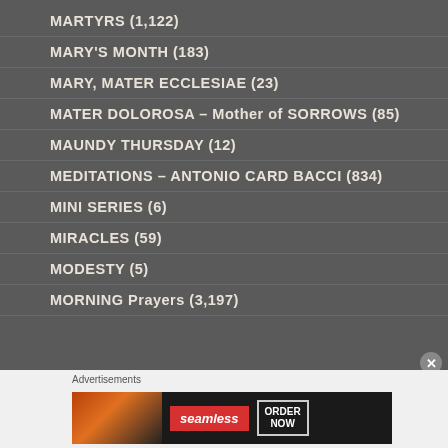MARTYRS (1,122)
MARY'S MONTH (183)
MARY, MATER ECCLESIAE (23)
MATER DOLOROSA – Mother of SORROWS (85)
MAUNDY THURSDAY (12)
MEDITATIONS – ANTONIO CARD BACCI (834)
MINI SERIES (6)
MIRACLES (59)
MODESTY (5)
MORNING Prayers (3,197)
Advertisements